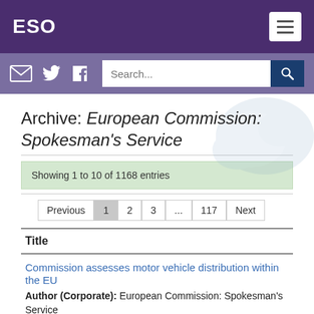ESO
Archive: European Commission: Spokesman's Service
Showing 1 to 10 of 1168 entries
Previous 1 2 3 ... 117 Next
| Title |
| --- |
| Commission assesses motor vehicle distribution within the EU | Author (Corporate): European Commission: Spokesman's Service |
Commission assesses motor vehicle distribution within the EU
Author (Corporate): European Commission: Spokesman's Service